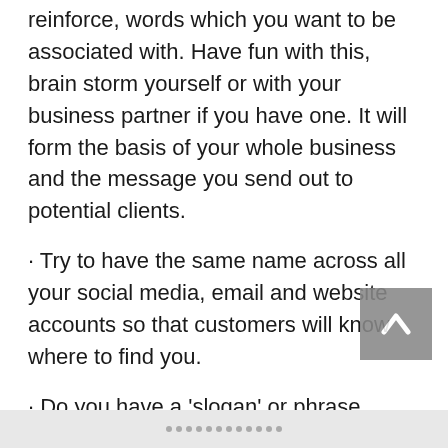reinforce, words which you want to be associated with. Have fun with this, brain storm yourself or with your business partner if you have one. It will form the basis of your whole business and the message you send out to potential clients.
· Try to have the same name across all your social media, email and website accounts so that customers will know where to find you.
· Do you have a 'slogan' or phrase which people can associate with your business? Something which explains is as few words as possible what you're about and gives a clear message about your values and approach to